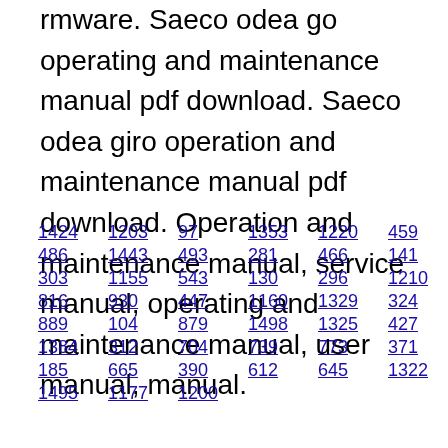rmware. Saeco odea go operating and maintenance manual pdf download. Saeco odea giro operation and maintenance manual pdf download. Operation and maintenance manual, service manual, operating and maintenance manual, user manual, manual.
1424  1203  97  1353  1220  459
486  1443  493  281  466  141  54
303  1155  543  130  296  1210
816  930  447  1160  1329  324
889  104  879  1498  1325  427
1384  312  704  739  773  371
185  665  390  612  645  1322
1495  1177  1200